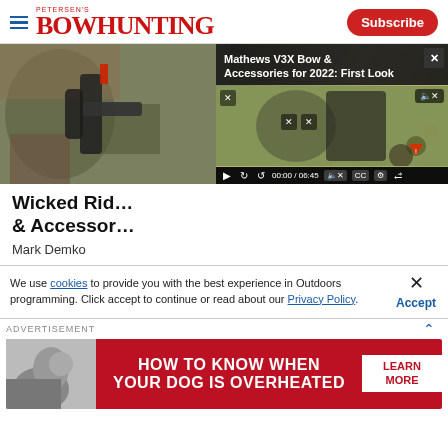Petersen's Bowhunting | Subscribe
[Figure (screenshot): Main photo of a compound bow in camouflage pattern with accessories, overlaid with a video player showing 'Mathews V3X Bow & Accessories for 2022: First Look' with controls showing 00:00 / 06:45]
Wicked Rid… & Accessor…
Mark Demko
We use cookies to provide you with the best experience in Outdoors programming. Click accept to continue or read about our Privacy Policy.
[Figure (infographic): Advertisement banner: 'HOW TO KNOW WHEN YOUR DOG IS OVERHEATED' with LEARN MORE button on red background]